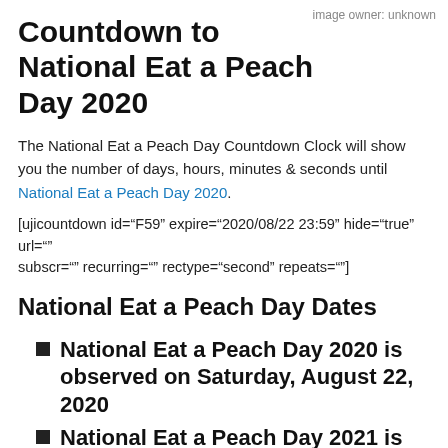image owner: unknown
Countdown to National Eat a Peach Day 2020
The National Eat a Peach Day Countdown Clock will show you the number of days, hours, minutes & seconds until National Eat a Peach Day 2020.
[ujicountdown id="F59" expire="2020/08/22 23:59" hide="true" url="" subscr="" recurring="" rectype="second" repeats=""]
National Eat a Peach Day Dates
National Eat a Peach Day 2020 is observed on Saturday, August 22, 2020
National Eat a Peach Day 2021 is observed on Sunday, August 22,